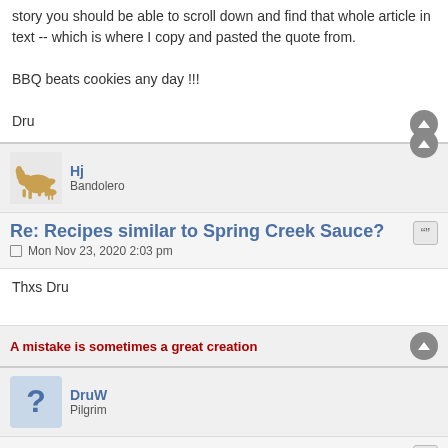story you should be able to scroll down and find that whole article in text -- which is where I copy and pasted the quote from.

BBQ beats cookies any day !!!

Dru
Re: Recipes similar to Spring Creek Sauce?
Mon Nov 23, 2020 2:03 pm
Thxs Dru
A mistake is sometimes a great creation
Re: Recipes similar to Spring Creek Sauce?
Thu May 05, 2022 5:25 pm
Weeeeelllll, it's been a way longer while now, but would still love to find a recipe for "Spring Creek" BBQ sauce (real similar as best I can remember